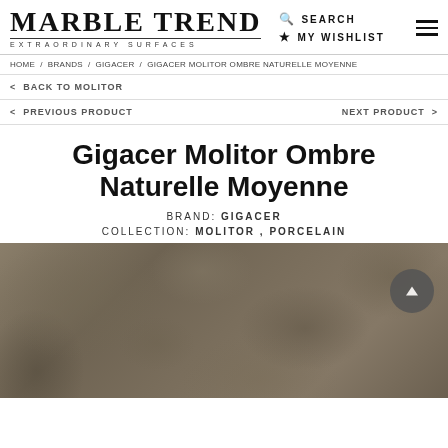MARBLE TREND EXTRAORDINARY SURFACES | SEARCH | MY WISHLIST
HOME / BRANDS / GIGACER / GIGACER MOLITOR OMBRE NATURELLE MOYENNE
< BACK TO MOLITOR
< PREVIOUS PRODUCT   NEXT PRODUCT >
Gigacer Molitor Ombre Naturelle Moyenne
BRAND: GIGACER
COLLECTION: MOLITOR , PORCELAIN
[Figure (photo): Close-up photo of a taupe/brown porcelain tile with natural stone-like texture and subtle mottled pattern. A dark grey circular scroll-to-top button is visible in the upper right area of the image.]